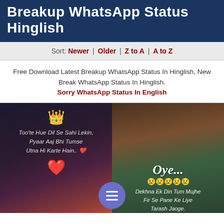Breakup WhatsApp Status Hinglish
Sort: Newer | Older | Z to A | A to Z
Free Download Latest Breakup WhatsApp Status In Hinglish, New Break WhatsApp Status In Hinglish. Sorry WhatsApp Status In English
[Figure (photo): Anime style image of two figures at night, heart emoji, text: Too'te Hue Dil Se Sahi Lekin, Pyaar Aaj Bhi Tumse Utna Hi Karte Hain. with heart emoji]
[Figure (photo): Doraemon and Nobita sad anime image with text: Oye... sad emojis, Dekhna Ek Din Tum Mujhe Fir Se Pane Ke Liye Tarash Jaoge.]